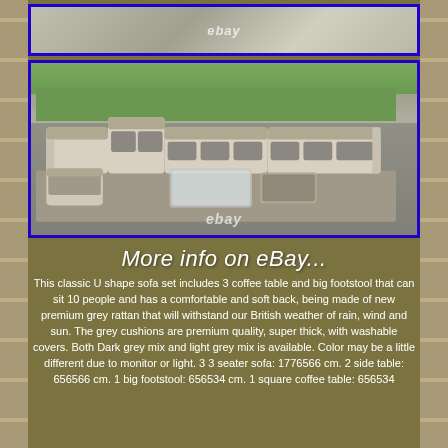[Figure (photo): Top partial photo of outdoor rattan furniture set with eBay watermark, blue border]
[Figure (photo): Main photo of U-shape outdoor rattan sofa set with grey cushions, coffee table and footstool displayed on patio, with green lawn background, blue border, eBay watermark]
More info on eBay...
This classic U shape sofa set includes 3 coffee table and big footstool that can sit 10 people and has a comfortable and soft back, being made of new premium grey rattan that will withstand our British weather of rain, wind and sun. The grey cushions are premium quality, super thick, with washable covers. Both Dark grey mix and light grey mix is available. Color may be a little different due to monitor or light. 3 3 seater sofa: 1776566 cm. 2 side table: 656566 cm. 1 big footstool: 656534 cm. 1 square coffee table: 656534